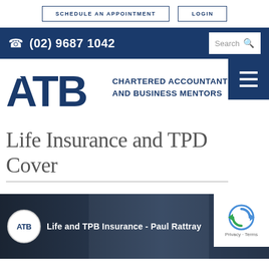SCHEDULE AN APPOINTMENT | LOGIN
(02) 9687 1042
[Figure (logo): ATB Chartered Accountants and Business Mentors logo with hamburger menu]
Life Insurance and TPD Cover
[Figure (screenshot): Video thumbnail showing ATB logo circle and text 'Life and TPB Insurance - Paul Rattray' with reCAPTCHA overlay]